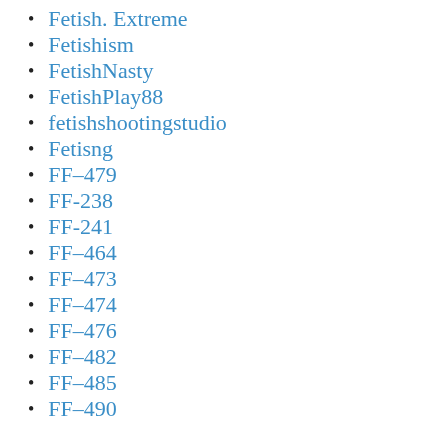Fetish. Extreme
Fetishism
FetishNasty
FetishPlay88
fetishshootingstudio
Fetisng
FF–479
FF-238
FF-241
FF–464
FF–473
FF–474
FF–476
FF–482
FF–485
FF–490